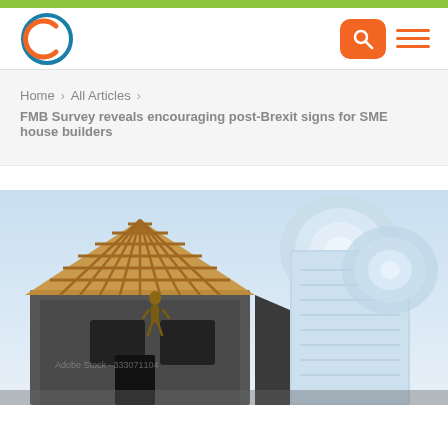Home > All Articles > FMB Survey reveals encouraging post-Brexit signs for SME house builders
FMB Survey reveals encouraging post-Brexit signs for SME house builders
[Figure (photo): A scale model of a house under construction showing wooden roof framing, next to rolled-up architectural blueprints on a light blue background.]